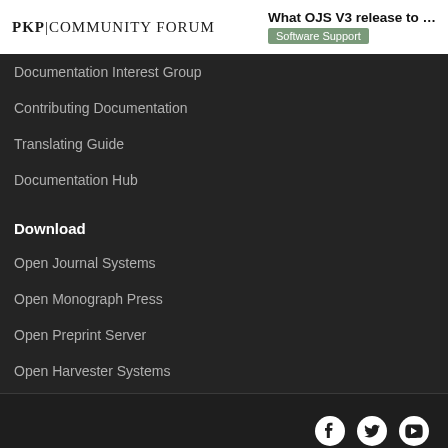PKP|COMMUNITY FORUM
What OJS V3 release to ...
Software Support
Documentation Interest Group
Contributing Documentation
Translating Guide
Documentation Hub
Download
Open Journal Systems
Open Monograph Press
Open Preprint Server
Open Harvester Systems
Social media icons: Facebook, Twitter, YouTube